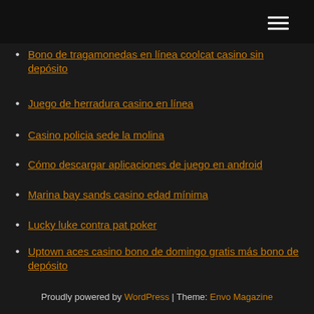navigation menu header bar
Bono de tragamonedas en línea coolcat casino sin depósito
Juego de herradura casino en línea
Casino policia sede la molina
Cómo descargar aplicaciones de juego en android
Marina bay sands casino edad mínima
Lucky luke contra pat poker
Uptown aces casino bono de domingo gratis más bono de depósito
Cómo vencer a la ruleta en los casinos en línea
Lucky dragon las vegas fotografías
Proudly powered by WordPress | Theme: Envo Magazine